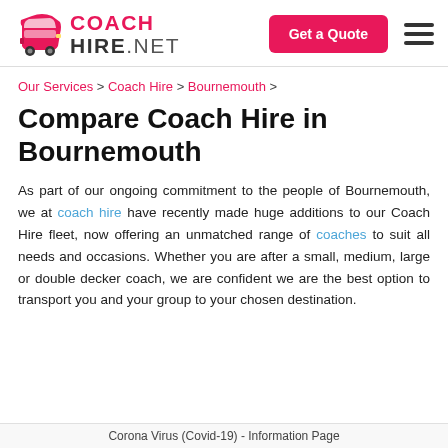COACH HIRE.NET | Get a Quote
Our Services > Coach Hire > Bournemouth >
Compare Coach Hire in Bournemouth
As part of our ongoing commitment to the people of Bournemouth, we at coach hire have recently made huge additions to our Coach Hire fleet, now offering an unmatched range of coaches to suit all needs and occasions. Whether you are after a small, medium, large or double decker coach, we are confident we are the best option to transport you and your group to your chosen destination.
Corona Virus (Covid-19) - Information Page